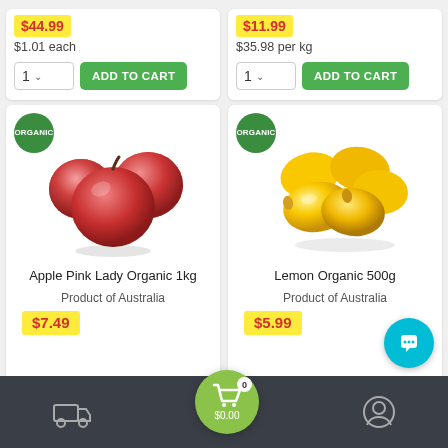[Figure (screenshot): E-commerce grocery app screenshot showing product cards for organic fruits with add to cart buttons, bottom navigation bar, and a chat button.]
$1.01 each
$35.98 per kg
ADD TO CART
ADD TO CART
[Figure (photo): Organic badge and red apples (Apple Pink Lady Organic 1kg)]
[Figure (photo): Organic badge and yellow lemons (Lemon Organic 500g)]
Apple Pink Lady Organic 1kg
Lemon Organic 500g
Product of Australia
Product of Australia
$7.49
$5.99
0  $0.00